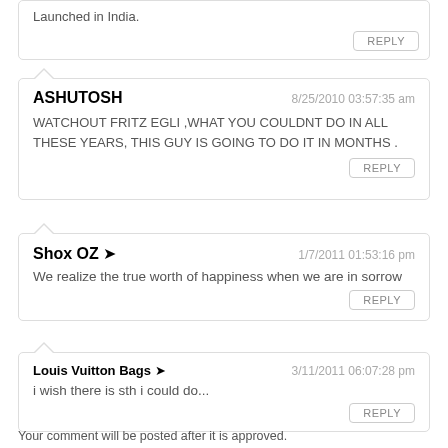Launched in India.
REPLY
ASHUTOSH
WATCHOUT FRITZ EGLI ,WHAT YOU COULDNT DO IN ALL THESE YEARS, THIS GUY IS GOING TO DO IT IN MONTHS .
REPLY
Shox OZ
We realize the true worth of happiness when we are in sorrow
REPLY
Louis Vuitton Bags
i wish there is sth i could do...
REPLY
Your comment will be posted after it is approved.